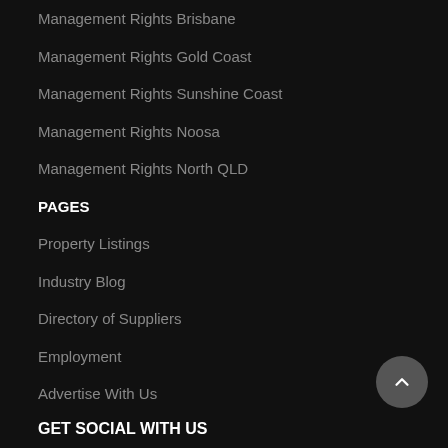Management Rights Brisbane
Management Rights Gold Coast
Management Rights Sunshine Coast
Management Rights Noosa
Management Rights North QLD
PAGES
Property Listings
Industry Blog
Directory of Suppliers
Employment
Advertise With Us
Contact Us
Privacy Policy
GET SOCIAL WITH US